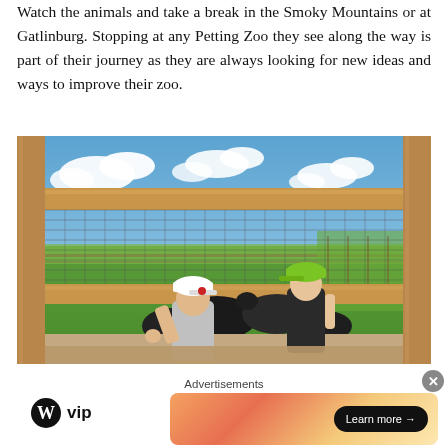Watch the animals and take a break in the Smoky Mountains or at Gatlinburg. Stopping at any Petting Zoo they see along the way is part of their journey as they are always looking for new ideas and ways to improve their zoo.
[Figure (photo): Two children standing at a wooden fence/pen at a petting zoo, feeding or looking at dark-colored animals (goats). One child wears a white cap and grey shirt, the other wears a green cap and black sleeveless shirt. Blue sky with clouds visible above, green fields in background.]
Advertisements
[Figure (logo): WordPress VIP logo — WordPress W circle icon followed by 'vip' text]
[Figure (screenshot): Advertisement banner with orange/warm gradient background and a dark 'Learn more →' button on the right]